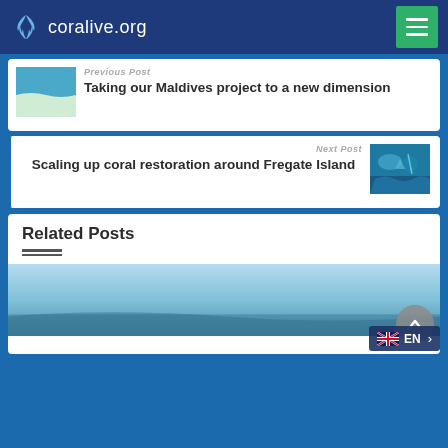coralive.org
Previous Post
Taking our Maldives project to a new dimension
Next Post
Scaling up coral restoration around Fregate Island
Related Posts